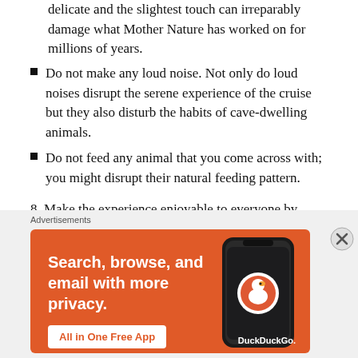delicate and the slightest touch can irreparably damage what Mother Nature has worked on for millions of years.
Do not make any loud noise. Not only do loud noises disrupt the serene experience of the cruise but they also disturb the habits of cave-dwelling animals.
Do not feed any animal that you come across with; you might disrupt their natural feeding pattern.
8. Make the experience enjoyable to everyone by adhering to the following simple rules:
Do not make any sudden movement in the boat.
[Figure (screenshot): DuckDuckGo advertisement banner with orange background showing 'Search, browse, and email with more privacy. All in One Free App' with DuckDuckGo logo and phone image.]